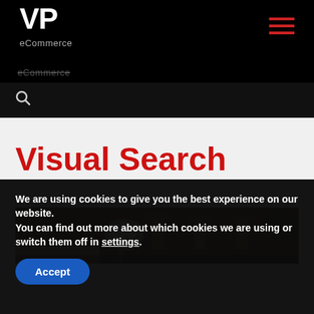VP eCommerce
Visual Search
[Figure (photo): Photo of a dining area with wooden chairs, a table, white flowers in a vase, and a plant in the background]
We are using cookies to give you the best experience on our website.
You can find out more about which cookies we are using or switch them off in settings.
Accept